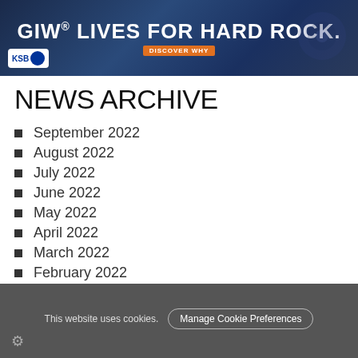[Figure (infographic): GIW banner ad: dark blue background with text 'GIW® LIVES FOR HARD ROCK.' and orange 'DISCOVER WHY' button. KSB logo bottom left.]
NEWS ARCHIVE
September 2022
August 2022
July 2022
June 2022
May 2022
April 2022
March 2022
February 2022
January 2022
December 2021
November 2021
This website uses cookies.  Manage Cookie Preferences